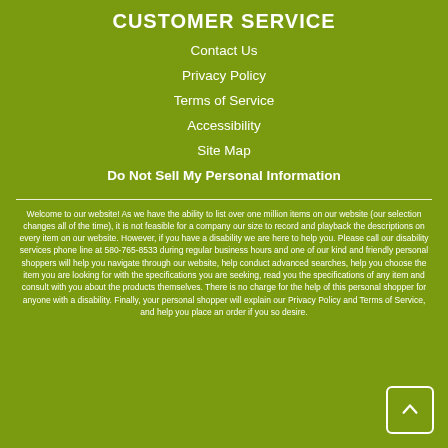CUSTOMER SERVICE
Contact Us
Privacy Policy
Terms of Service
Accessibility
Site Map
Do Not Sell My Personal Information
Welcome to our website! As we have the ability to list over one million items on our website (our selection changes all of the time), it is not feasible for a company our size to record and playback the descriptions on every item on our website. However, if you have a disability we are here to help you. Please call our disability services phone line at 580-765-8533 during regular business hours and one of our kind and friendly personal shoppers will help you navigate through our website, help conduct advanced searches, help you choose the item you are looking for with the specifications you are seeking, read you the specifications of any item and consult with you about the products themselves. There is no charge for the help of this personal shopper for anyone with a disability. Finally, your personal shopper will explain our Privacy Policy and Terms of Service, and help you place an order if you so desire.